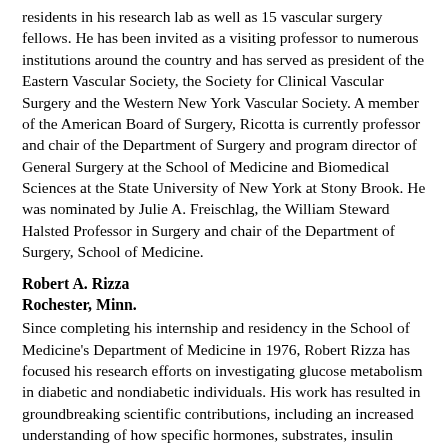residents in his research lab as well as 15 vascular surgery fellows. He has been invited as a visiting professor to numerous institutions around the country and has served as president of the Eastern Vascular Society, the Society for Clinical Vascular Surgery and the Western New York Vascular Society. A member of the American Board of Surgery, Ricotta is currently professor and chair of the Department of Surgery and program director of General Surgery at the School of Medicine and Biomedical Sciences at the State University of New York at Stony Brook. He was nominated by Julie A. Freischlag, the William Steward Halsted Professor in Surgery and chair of the Department of Surgery, School of Medicine.
Robert A. Rizza
Rochester, Minn.
Since completing his internship and residency in the School of Medicine's Department of Medicine in 1976, Robert Rizza has focused his research efforts on investigating glucose metabolism in diabetic and nondiabetic individuals. His work has resulted in groundbreaking scientific contributions, including an increased understanding of how specific hormones, substrates, insulin delivery routes and medical conditions regulate insulin action and glucose metabolism. Rizza has defined the mechanisms the human body uses to defend against and recover from hypoglycemia. He has developed practical approaches and tested the effectiveness of